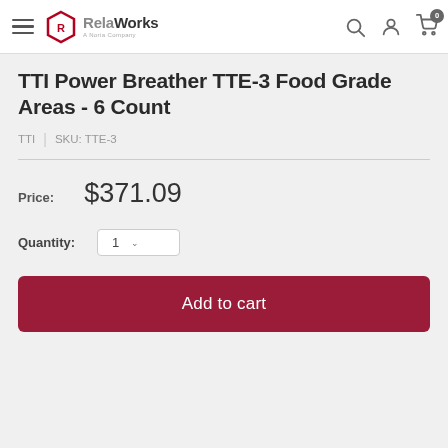RelaWorks — A Noria Company
TTI Power Breather TTE-3 Food Grade Areas - 6 Count
TTI | SKU: TTE-3
Price: $371.09
Quantity: 1
Add to cart